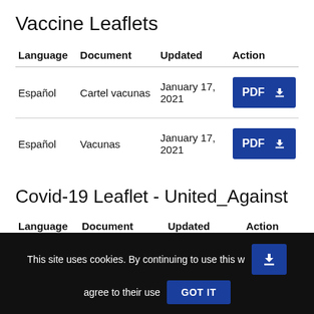Vaccine Leaflets
| Language | Document | Updated | Action |
| --- | --- | --- | --- |
| Español | Cartel vacunas | January 17, 2021 | PDF ⬇ |
| Español | Vacunas | January 17, 2021 | PDF ⬇ |
Covid-19 Leaflet - United_Against
| Language | Document | Updated | Action |
| --- | --- | --- | --- |
This site uses cookies. By continuing to use this w agree to their use
GOT IT